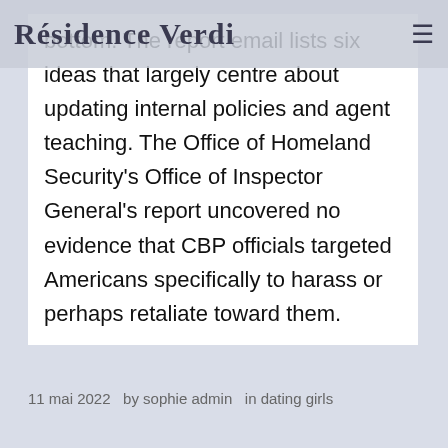Résidence Verdi
bottom. The report email lists six ideas that largely centre about updating internal policies and agent teaching. The Office of Homeland Security's Office of Inspector General's report uncovered no evidence that CBP officials targeted Americans specifically to harass or perhaps retaliate toward them.
11 mai 2022   by sophie admin   in dating girls
Résidence Verdi